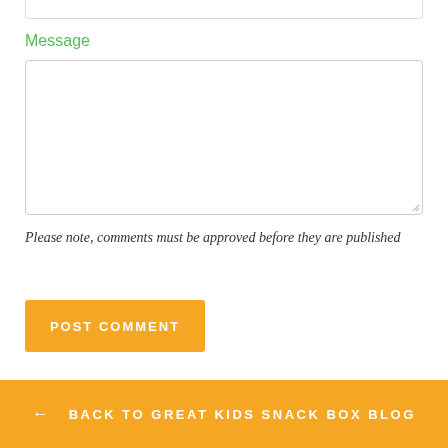Message
[Figure (other): Empty text input field (top, cropped)]
[Figure (other): Large empty textarea for message input]
Please note, comments must be approved before they are published
POST COMMENT
← BACK TO GREAT KIDS SNACK BOX BLOG